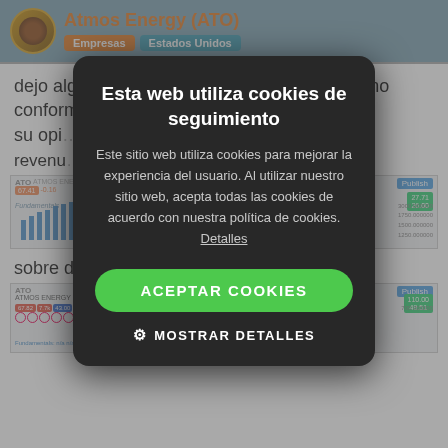Atmos Energy (ATO) — Empresas, Estados Unidos
dejo algunos datos sobre Atmos, que cada uno conforme su opi…
revenu…
[Figure (screenshot): TradingView chart of ATO showing revenue fundamentals data with bar chart and price overlay]
sobre deuda y equity:
[Figure (screenshot): TradingView chart of ATMOS ENERGY CORP showing debt and equity fundamentals data]
[Figure (other): Cookie consent modal dialog overlay with title 'Esta web utiliza cookies de seguimiento', body text about cookie usage, Accept Cookies button, and Show Details button]